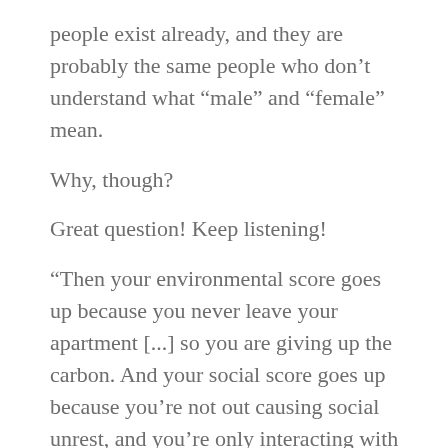people exist already, and they are probably the same people who don’t understand what “male” and “female” mean.
Why, though?
Great question! Keep listening!
“Then your environmental score goes up because you never leave your apartment [...] so you are giving up the carbon. And your social score goes up because you’re not out causing social unrest, and you’re only interacting with digital things.”
Lindsay talks about the Environmental Social Governance scores of corporations causing them